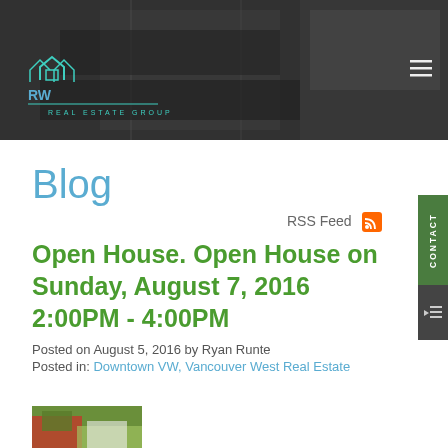[Figure (photo): Website header banner showing a modern kitchen interior with dark overlay, featuring RW Real Estate Group logo with house icon and teal/blue color scheme, hamburger menu icon top right]
Blog
RSS Feed
Open House. Open House on Sunday, August 7, 2016 2:00PM - 4:00PM
Posted on August 5, 2016 by Ryan Runte
Posted in: Downtown VW, Vancouver West Real Estate
[Figure (photo): Partial thumbnail image of a house exterior with green foliage visible at bottom of page]